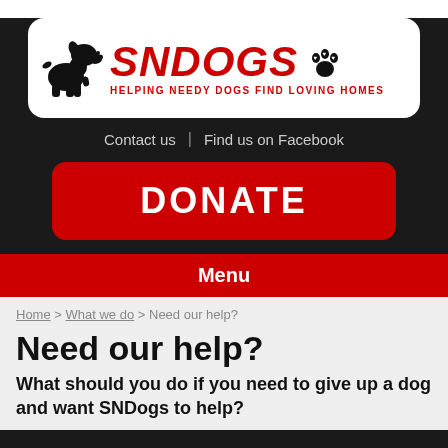[Figure (logo): SNDogs logo with dog silhouette, red SNDOGS text in italic bold, paw print icon, and tagline HELPING NEEDY DOGS FIND LOVING HOMES]
Contact us | Find us on Facebook
DONATE
Menu
Home > What we do > Need our help?
Need our help?
What should you do if you need to give up a dog and want SNDogs to help?